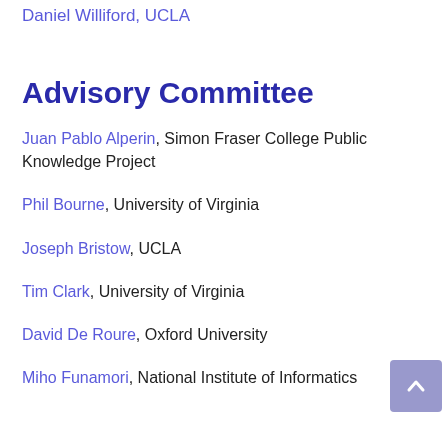Daniel Williford, UCLA
Advisory Committee
Juan Pablo Alperin, Simon Fraser College Public Knowledge Project
Phil Bourne, University of Virginia
Joseph Bristow, UCLA
Tim Clark, University of Virginia
David De Roure, Oxford University
Miho Funamori, National Institute of Informatics